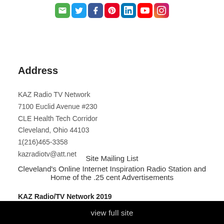[Figure (illustration): Row of social media icon buttons: email (green), Twitter (blue), Facebook (dark blue), Pinterest (red), LinkedIn (blue), YouTube (red), Instagram (gradient)]
Address
KAZ Radio TV Network
7100 Euclid Avenue #230
CLE Health Tech Corridor
Cleveland, Ohio 44103
1(216)465-3358
kazradiotv@att.net
Site Mailing List
Cleveland's Online Internet Inspiration Radio Station and Home of the .25 cent Advertisements
KAZ Radio/TV Network 2019
view full site